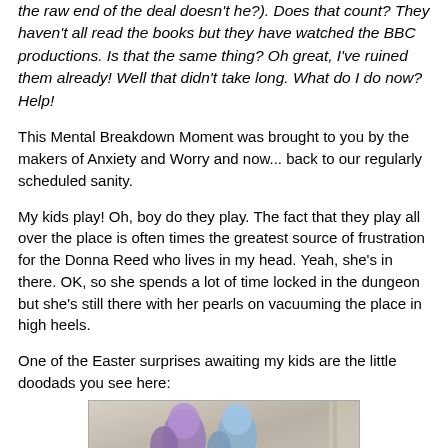the raw end of the deal doesn't he?). Does that count? They haven't all read the books but they have watched the BBC productions. Is that the same thing? Oh great, I've ruined them already! Well that didn't take long. What do I do now? Help!
This Mental Breakdown Moment was brought to you by the makers of Anxiety and Worry and now... back to our regularly scheduled sanity.
My kids play! Oh, boy do they play. The fact that they play all over the place is often times the greatest source of frustration for the Donna Reed who lives in my head. Yeah, she's in there. OK, so she spends a lot of time locked in the dungeon but she's still there with her pearls on vacuuming the place in high heels.
One of the Easter surprises awaiting my kids are the little doodads you see here:
[Figure (photo): Photo of Easter surprise items, appears to show ribbon or bow decorations in purple and blue colors, partially visible at bottom of page]